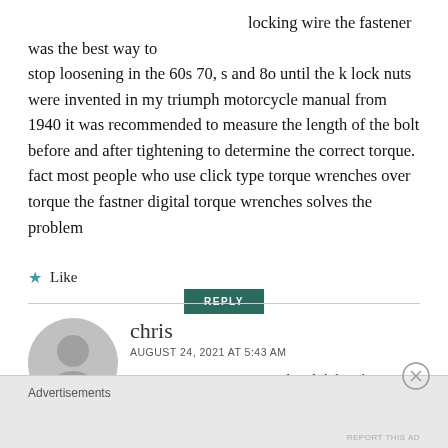locking wire the fastener was the best way to stop loosening in the 60s 70, s and 80 until the k lock nuts were invented in my triumph motorcycle manual from 1940 it was recommended to measure the length of the bolt before and after tightening to determine the correct torque. fact most people who use click type torque wrenches over torque the fastner digital torque wrenches solves the problem
★ Like
REPLY
[Figure (illustration): Generic grey avatar/profile picture showing a silhouette of a person]
chris
AUGUST 24, 2021 AT 5:43 AM
saw a report years ago on hand tightening bolts/nuts and a comparison to torque
Advertisements